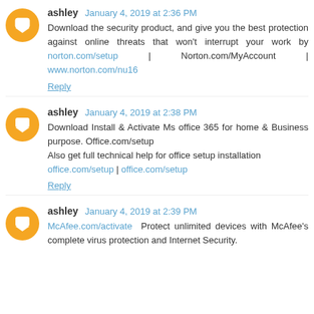ashley January 4, 2019 at 2:36 PM
Download the security product, and give you the best protection against online threats that won't interrupt your work by norton.com/setup | Norton.com/MyAccount | www.norton.com/nu16
Reply
ashley January 4, 2019 at 2:38 PM
Download Install & Activate Ms office 365 for home & Business purpose. Office.com/setup
Also get full technical help for office setup installation
office.com/setup | office.com/setup
Reply
ashley January 4, 2019 at 2:39 PM
McAfee.com/activate Protect unlimited devices with McAfee's complete virus protection and Internet Security.